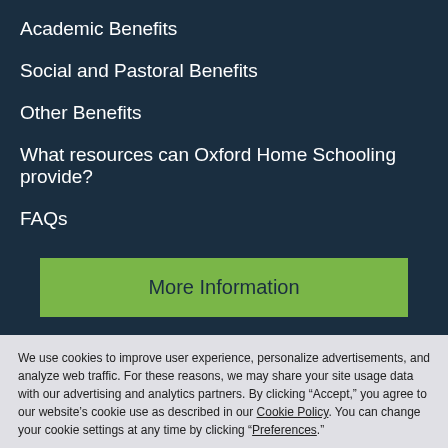Academic Benefits
Social and Pastoral Benefits
Other Benefits
What resources can Oxford Home Schooling provide?
FAQs
More Information
We use cookies to improve user experience, personalize advertisements, and analyze web traffic. For these reasons, we may share your site usage data with our advertising and analytics partners. By clicking “Accept,” you agree to our website’s cookie use as described in our Cookie Policy. You can change your cookie settings at any time by clicking “Preferences.”
Decline
Accept
Preferences